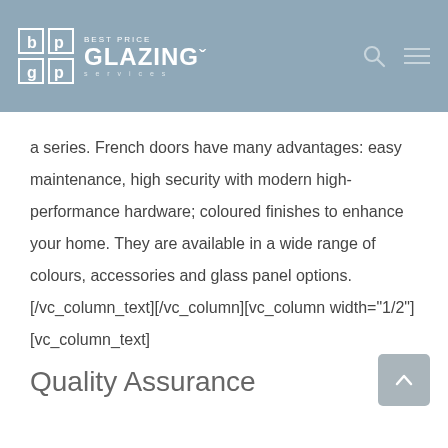Best Price Glazing Services
a series. French doors have many advantages: easy maintenance, high security with modern high-performance hardware; coloured finishes to enhance your home. They are available in a wide range of colours, accessories and glass panel options. [/vc_column_text][/vc_column][vc_column width="1/2"][vc_column_text]
Quality Assurance